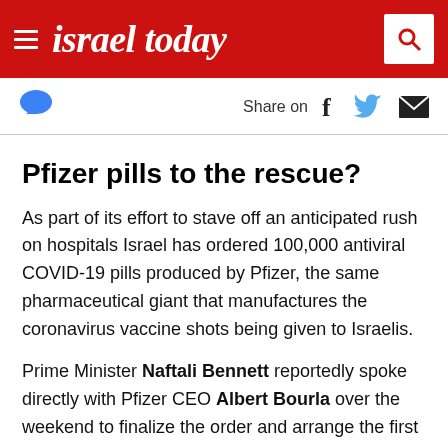israel today
Share on
Pfizer pills to the rescue?
As part of its effort to stave off an anticipated rush on hospitals Israel has ordered 100,000 antiviral COVID-19 pills produced by Pfizer, the same pharmaceutical giant that manufactures the coronavirus vaccine shots being given to Israelis.
Prime Minister Naftali Bennett reportedly spoke directly with Pfizer CEO Albert Bourla over the weekend to finalize the order and arrange the first